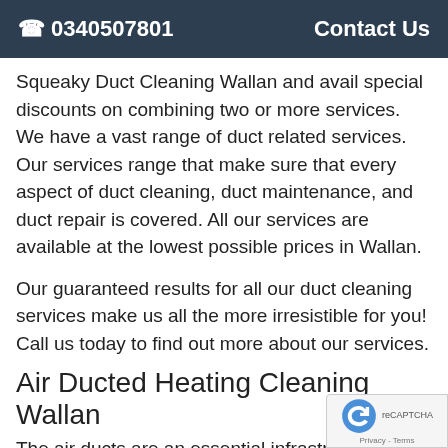☎ 0340507801   Contact Us
Squeaky Duct Cleaning Wallan and avail special discounts on combining two or more services. We have a vast range of duct related services. Our services range that make sure that every aspect of duct cleaning, duct maintenance, and duct repair is covered. All our services are available at the lowest possible prices in Wallan.
Our guaranteed results for all our duct cleaning services make us all the more irresistible for you! Call us today to find out more about our services.
Air Ducted Heating Cleaning Wallan
The air ducts are an essential infrastructure of your HVAC system. Your air duct helps to purvey cool or heated the various rooms in your house by your HVAC syst